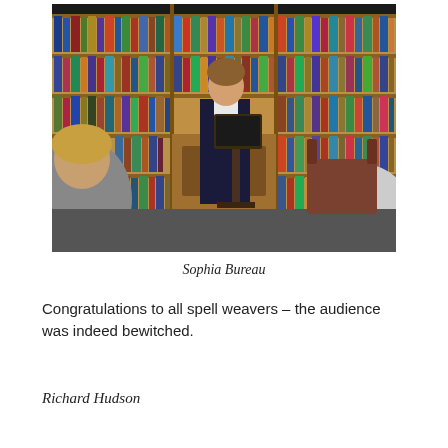[Figure (photo): A young woman in a dark blazer stands at a wooden lectern reading from a binder, in front of tall wooden bookshelves filled with colorful books. Two audience members are visible in the foreground, one on the left and one on the right.]
Sophia Bureau
Congratulations to all spell weavers – the audience was indeed bewitched.
Richard Hudson